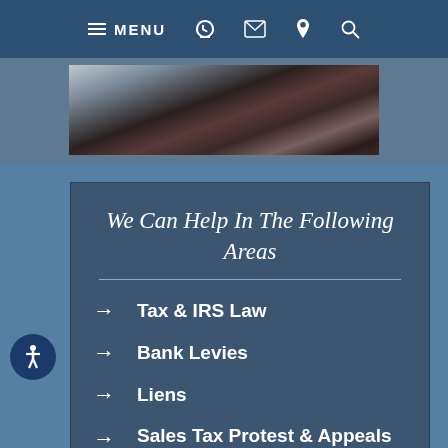MENU
[Figure (screenshot): Partial photo of a person in a dark suit and tie, cropped to show torso/shoulders area]
We Can Help In The Following Areas
Tax & IRS Law
Bank Levies
Liens
Sales Tax Protest & Appeals